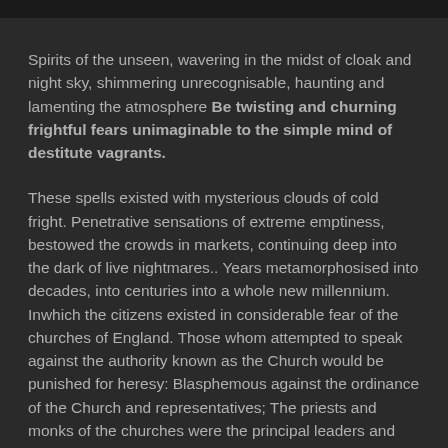Spirits of the unseen, wavering in the midst of cloak and night sky, shimmering unrecognisable, haunting and lamenting the atmosphere Be twisting and churning frightful fears unimaginable to the simple mind of destitute vagrants.
These spells existed with mysterious clouds of cold fright. Penetrative sensations of extreme emptiness, bestowed the crowds in markets, continuing deep into the dark of live nightmares.. Years metamorphosised into decades, into centuries into a whole new millennium. Inwhich the citizens existed in considerable fear of the churches of England. Those whom attempted to speak against the authority known as the Church would be punished for heresy: Blasphemous against the ordinance of the Church and representatives; The priests and monks of the churches were the principal leaders and primary worshippers whose positions served the country as gods spokesmen and distant disciples of the holy trinitarian : Mary Madeline, Jesus Christ and Holy spirit.
In quite the typical fashion, the dis-ingenius patterns regarding demographical heterogeneity bands throughout, have indeed